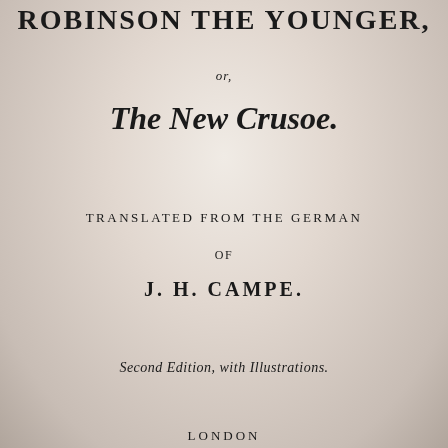ROBINSON THE YOUNGER,
or,
The New Crusoe.
TRANSLATED FROM THE GERMAN
OF
J. H. CAMPE.
Second Edition, with Illustrations.
LONDON